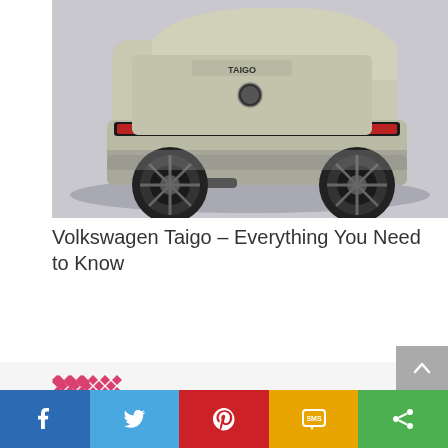[Figure (photo): Rear three-quarter view of a Volkswagen Taigo SUV in a light olive/silver color with black alloy wheels, photographed in a studio setting with a gray background.]
Volkswagen Taigo – Everything You Need to Know
[Figure (logo): SurFolks logo: pink/red geometric diamond pattern in a square, with 'SurFolks' text in bold black next to it.]
SurFolks, the one stop destination to cater all your wants and needs.
[Figure (other): Social sharing bar with Facebook (blue), Twitter (light blue), Pinterest (red), SMS (yellow/gold), and share (green) buttons.]